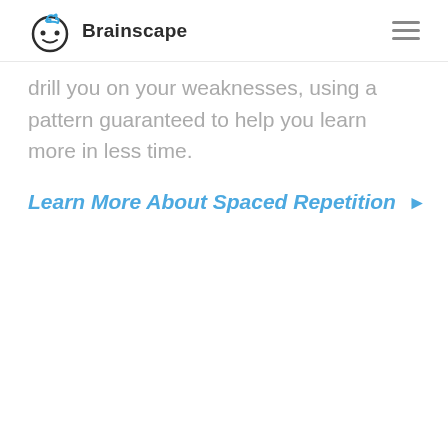Brainscape
drill you on your weaknesses, using a pattern guaranteed to help you learn more in less time.
Learn More About Spaced Repetition ▶